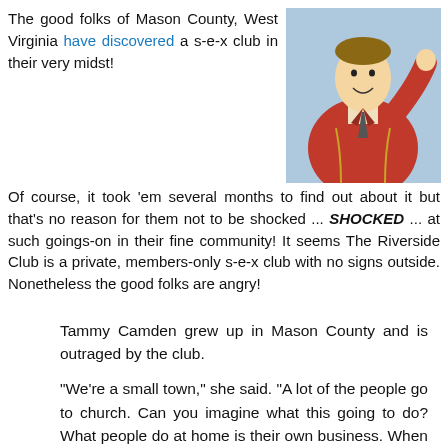The good folks of Mason County, West Virginia have discovered a s-e-x club in their very midst!
[Figure (photo): Man in red jacket waving, appears to be a celebrity or TV personality photo]
Of course, it took 'em several months to find out about it but that's no reason for them not to be shocked ... SHOCKED ... at such goings-on in their fine community! It seems The Riverside Club is a private, members-only s-e-x club with no signs outside. Nonetheless the good folks are angry!
Tammy Camden grew up in Mason County and is outraged by the club.
"We're a small town," she said. "A lot of the people go to church. Can you imagine what this going to do? What people do at home is their own business. When you put it on the streets, then it becomes our business."